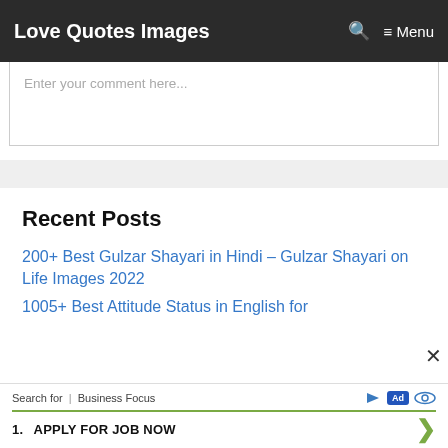Love Quotes Images  🔍  ≡ Menu
Enter your comment here...
Recent Posts
200+ Best Gulzar Shayari in Hindi – Gulzar Shayari on Life Images 2022
1005+ Best Attitude Status in English for
Search for | Business Focus  [Ad]  1. APPLY FOR JOB NOW